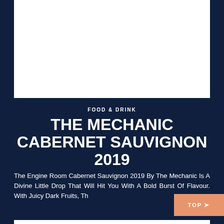[Figure (photo): White rectangular image placeholder area at the top of the page]
FOOD & DRINK
THE MECHANIC CABERNET SAUVIGNON 2019
The Engine Room Cabernet Sauvignon 2019 By The Mechanic Is A Divine Little Drop That Will Hit You With A Bold Burst Of Flavour. With Juicy Dark Fruits, Th... [text continues]